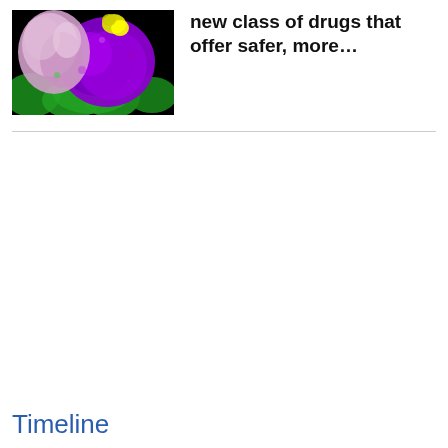[Figure (photo): Molecular visualization on black background showing protein structures in pink/lavender, purple, green, and yellow colors]
new class of drugs that offer safer, more…
Timeline